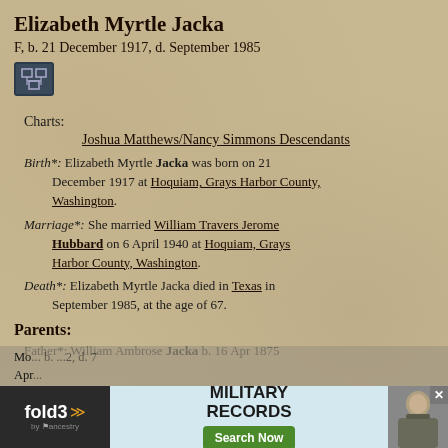Elizabeth Myrtle Jacka
F, b. 21 December 1917, d. September 1985
Charts:
Joshua Matthews/Nancy Simmons Descendants
Birth*: Elizabeth Myrtle Jacka was born on 21 December 1917 at Hoquiam, Grays Harbor County, Washington.
Marriage*: She married William Travers Jerome Hubbard on 6 April 1940 at Hoquiam, Grays Harbor County, Washington.
Death*: Elizabeth Myrtle Jacka died in Texas in September 1985, at the age of 67.
Parents:
Father*: William Ambrose Jacka b. 16 Apr 1875
Mo... b. ...2, d. 7 Apr...
[Figure (infographic): Fold3 Military Records advertisement banner with logo, Search Now button, and soldier photo]